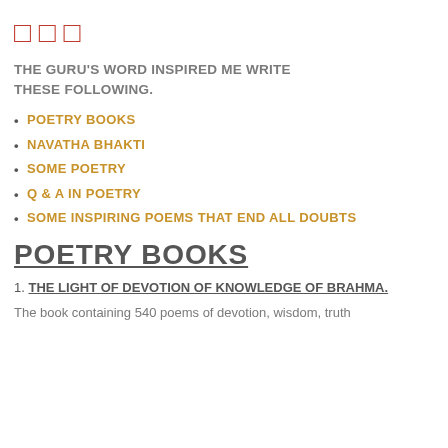[Figure (other): Three red square bracket or box icons in a row]
THE GURU'S WORD INSPIRED ME WRITE THESE FOLLOWING.
POETRY BOOKS
NAVATHA BHAKTI
SOME POETRY
Q & A IN POETRY
SOME INSPIRING POEMS THAT END ALL DOUBTS
POETRY BOOKS
1. THE LIGHT OF DEVOTION OF KNOWLEDGE OF BRAHMA.
The book containing 540 poems of devotion, wisdom, truth